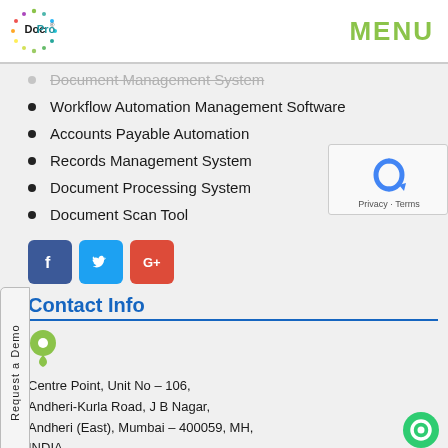DocPro — MENU
Document Management System
Workflow Automation Management Software
Accounts Payable Automation
Records Management System
Document Processing System
Document Scan Tool
[Figure (logo): Social media icons: Facebook, Twitter, Google+]
Contact Info
[Figure (illustration): Green map location pin icon]
Centre Point, Unit No – 106, Andheri-Kurla Road, J B Nagar, Andheri (East), Mumbai – 400059, MH, INDIA